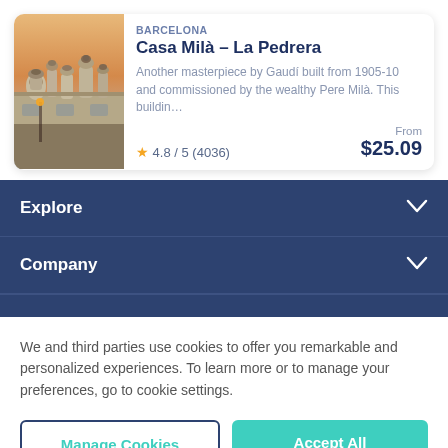BARCELONA
Casa Milà – La Pedrera
Another masterpiece by Gaudí built from 1905-10 and commissioned by the wealthy Pere Milà. This buildin…
★ 4.8 / 5  (4036)
From $25.09
[Figure (photo): Photo of Casa Milà rooftop at sunset with distinctive chimneys/warriors]
Explore ∨
Company ∨
We and third parties use cookies to offer you remarkable and personalized experiences. To learn more or to manage your preferences, go to cookie settings.
Manage Cookies
Accept All